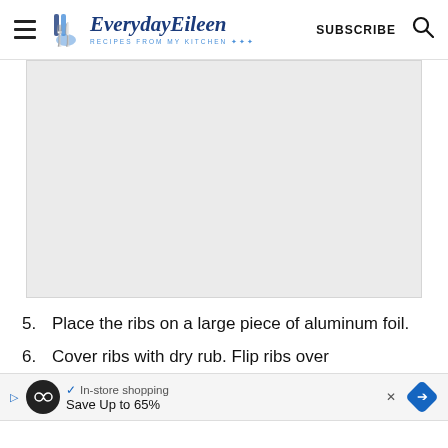EverydayEileen - RECIPES FROM MY KITCHEN
[Figure (other): Large gray content/image block placeholder area]
5. Place the ribs on a large piece of aluminum foil.
6. Cover ribs with dry rub. Flip ribs over
7. (partial, with advertisement overlay)
[Figure (other): Advertisement banner with in-store shopping text, play button, infinity logo circle, and Save Up to 65% text with navigation arrow]